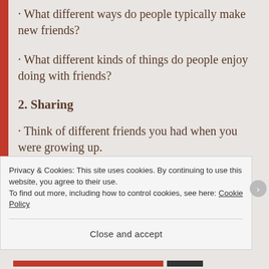· What different ways do people typically make new friends?
· What different kinds of things do people enjoy doing with friends?
2. Sharing
· Think of different friends you had when you were growing up.
Privacy & Cookies: This site uses cookies. By continuing to use this website, you agree to their use.
To find out more, including how to control cookies, see here: Cookie Policy
Close and accept